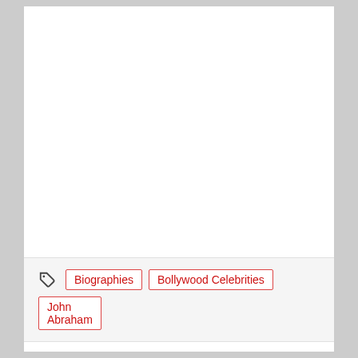Biographies  Bollywood Celebrities  John Abraham